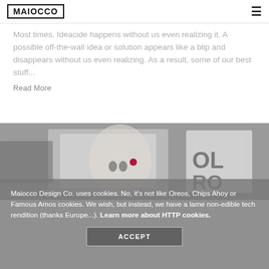MAIOCCO
Most times, Ideacide happens without us even realizing it. A possible off-the-wall idea or solution appears like a blip and disappears without us even realizing. As a result, some of our best stuff...
Read More
[Figure (photo): A greyscale photo of a woman's face with a small red dot, alongside a print/magazine, overlapping on a grey surface. Partial text 'OL' and 'RO' visible on the print.]
Maiocco Design Co. uses cookies. No, it's not like Oreos, Chips Ahoy or Famous Amos cookies. We wish, but instead, we have a lame non-edible tech rendition (thanks Europe...). Learn more about HTTP cookies.
ACCEPT